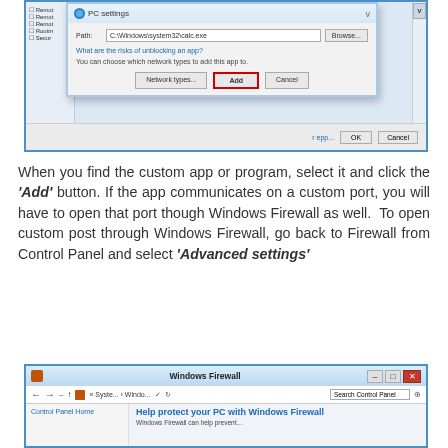[Figure (screenshot): Windows dialog box for adding a program to Windows Firewall. Shows PC settings dialog with Path field containing C:\Windows\system32\calc.exe, Browse button, link 'What are the risks of unblocking an app?', info text 'You can choose which network types to add this app to.', and buttons: Network types..., Add (highlighted with red border), Cancel. Background shows firewall settings panel. Bottom has OK and Cancel buttons.]
When you find the custom app or program, select it and click the ‘Add’ button. If the app communicates on a custom port, you will have to open that port though Windows Firewall as well.  To open custom post through Windows Firewall, go back to Firewall from Control Panel and select ‘Advanced settings’
[Figure (screenshot): Windows Firewall window showing title bar with minimize, maximize, and close (red X) buttons. Address bar shows navigation path: Syste... > Windo... with search box 'Search Control Panel'. Left panel shows 'Control Panel Home'. Right panel shows heading 'Help protect your PC with Windows Firewall' and partial subtext below.]